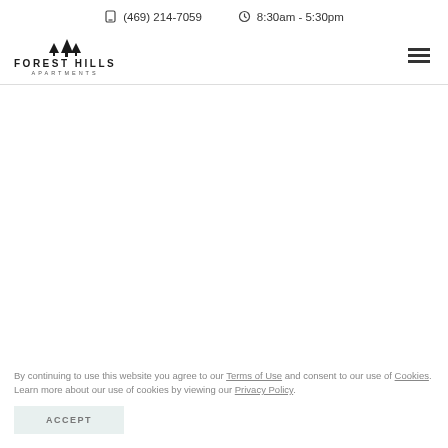(469) 214-7059  8:30am - 5:30pm
[Figure (logo): Forest Hills Apartments logo with tree icons above the text FOREST HILLS APARTMENTS]
By continuing to use this website you agree to our Terms of Use and consent to our use of Cookies. Learn more about our use of cookies by viewing our Privacy Policy.
ACCEPT